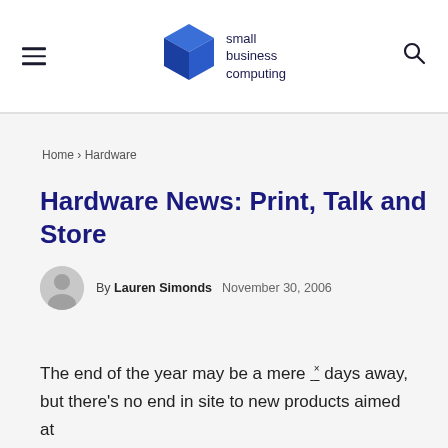small business computing
Home › Hardware
Hardware News: Print, Talk and Store
By Lauren Simonds  November 30, 2006
The end of the year may be a mere ⁻ˣ days away, but there's no end in site to new products aimed at